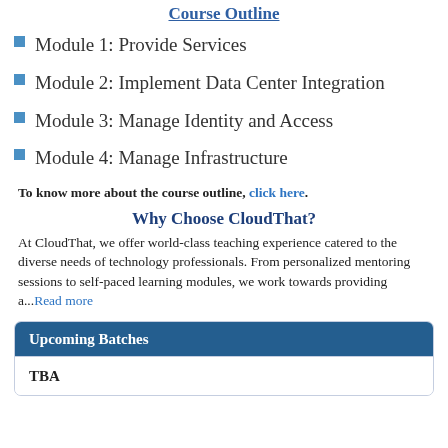Course Outline
Module 1: Provide Services
Module 2: Implement Data Center Integration
Module 3: Manage Identity and Access
Module 4: Manage Infrastructure
To know more about the course outline, click here.
Why Choose CloudThat?
At CloudThat, we offer world-class teaching experience catered to the diverse needs of technology professionals. From personalized mentoring sessions to self-paced learning modules, we work towards providing a...Read more
| Upcoming Batches |
| --- |
| TBA |